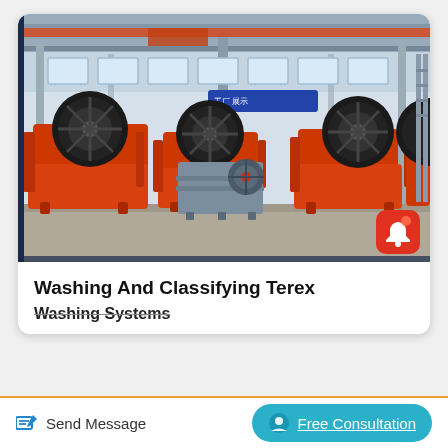[Figure (photo): Industrial factory floor with multiple large orange jaw crushers and one small gray crusher. Machines are in a large warehouse with steel structure ceiling, overhead crane, and concrete walls with windows in the background.]
Washing And Classifying Terex
Washing Systems
Send Message
Free Consultation